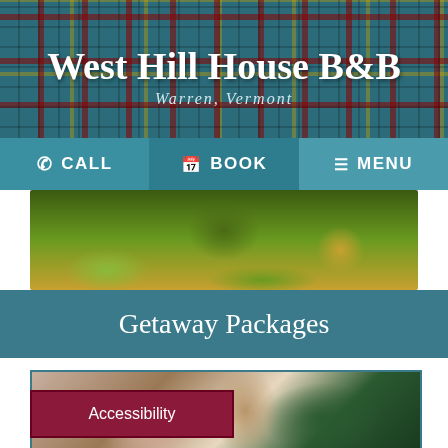West Hill House B&B
Warren, Vermont
CALL | BOOK | MENU
[Figure (photo): Outdoor grass and field photo strip showing green grass and golden grassy terrain, likely Vermont landscape]
Getaway Packages
[Figure (photo): Close-up wedding photo of couple holding hands, bride in beaded dress holding white floral bouquet with greenery]
Accessibility